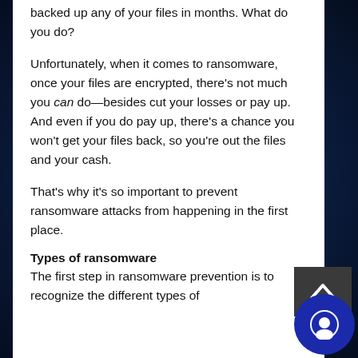backed up any of your files in months. What do you do?
Unfortunately, when it comes to ransomware, once your files are encrypted, there's not much you can do—besides cut your losses or pay up. And even if you do pay up, there's a chance you won't get your files back, so you're out the files and your cash.
That's why it's so important to prevent ransomware attacks from happening in the first place.
Types of ransomware
The first step in ransomware prevention is to recognize the different types of